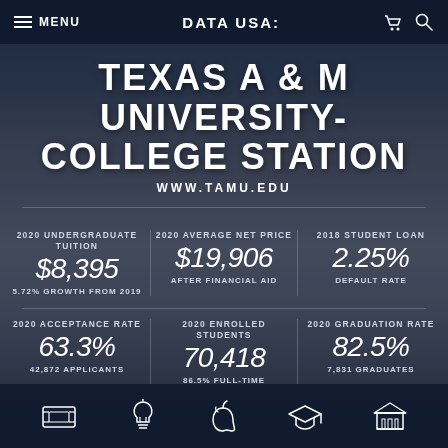DATA USA:
TEXAS A & M UNIVERSITY- COLLEGE STATION
WWW.TAMU.EDU
2020 UNDERGRADUATE TUITION
$8,395
5.72% GROWTH FROM 2019
2020 AVERAGE NET PRICE
$19,906
AFTER FINANCIAL AID
2018 STUDENT LOAN
2.25%
DEFAULT RATE
2020 ACCEPTANCE RATE
63.3%
42,872 APPLICANTS
2020 ENROLLED STUDENTS
70,418
86.5% FULL-TIME
2020 GRADUATION RATE
82.5%
7,831 GRADUATES
Navigation icons: dollar/finance, lightbulb, apple, graduation cap, building/institution